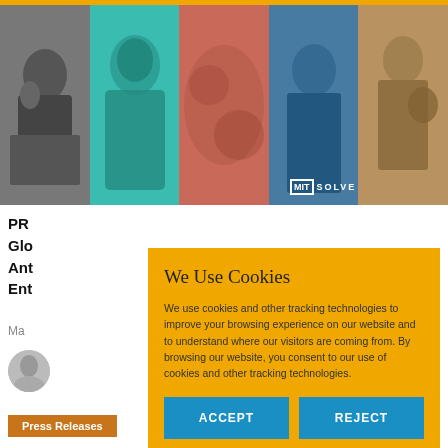[Figure (photo): Hero banner with five color-tinted panels showing diverse people: a man reading (grayscale), a person in medical gear (teal), a close-up of skin/texture (red-orange), a smiling man (blue), and a woman with child (golden). MIT Solve logo in bottom-right.]
PR...
Glo...
Ant...
Ent...
Ma...
[Figure (photo): Small circular author avatar photo]
We Use Cookies
We use cookies and other tracking technologies to improve your browsing experience on our website and to understand where our visitors are coming from. By browsing our website, you consent to our use of cookies and other tracking technologies.
ACCEPT
REJECT
Press Releases